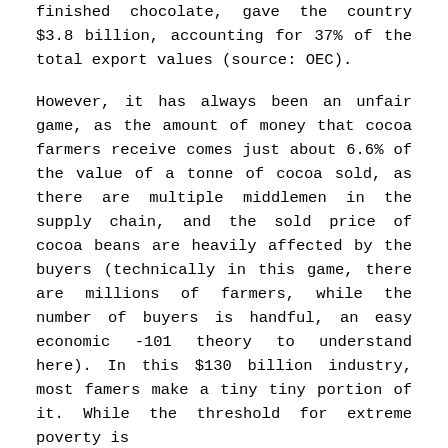finished chocolate, gave the country $3.8 billion, accounting for 37% of the total export values (source: OEC).
However, it has always been an unfair game, as the amount of money that cocoa farmers receive comes just about 6.6% of the value of a tonne of cocoa sold, as there are multiple middlemen in the supply chain, and the sold price of cocoa beans are heavily affected by the buyers (technically in this game, there are millions of farmers, while the number of buyers is handful, an easy economic -101 theory to understand here). In this $130 billion industry, most famers make a tiny tiny portion of it. While the threshold for extreme poverty is